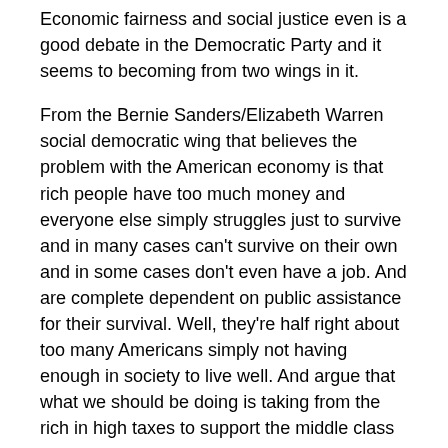Economic fairness and social justice even is a good debate in the Democratic Party and it seems to becoming from two wings in it.
From the Bernie Sanders/Elizabeth Warren social democratic wing that believes the problem with the American economy is that rich people have too much money and everyone else simply struggles just to survive and in many cases can't survive on their own and in some cases don't even have a job. And are complete dependent on public assistance for their survival. Well, they're half right about too many Americans simply not having enough in society to live well. And argue that what we should be doing is taking from the rich in high taxes to support the middle class and poor with bigger current Federal social insurance programs and new social insurance programs for the middle class and poor.